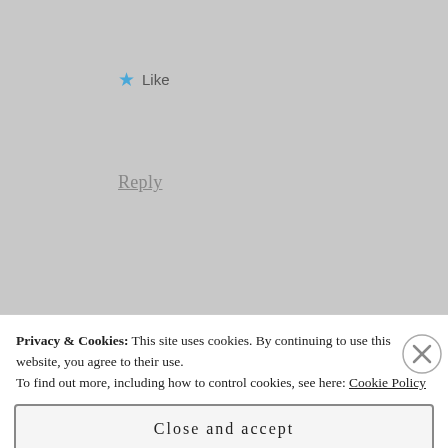★ Like
Reply
[Figure (photo): User avatar photo of thebookmaiden — a woman reading a book at a table]
thebookmaiden
MARCH 20, 2018 AT 10:21 AM
Privacy & Cookies: This site uses cookies. By continuing to use this website, you agree to their use.
To find out more, including how to control cookies, see here: Cookie Policy
Close and accept